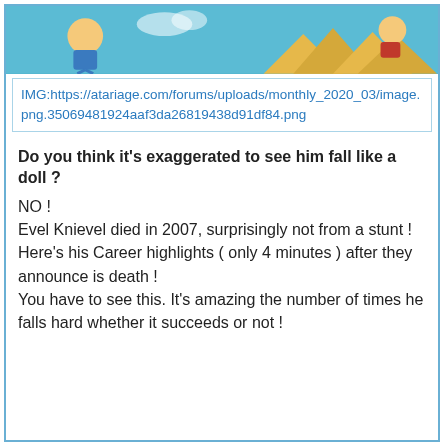[Figure (illustration): Cartoon/illustrated banner image with a blue sky background, cartoon characters and pyramids, typical of an Atari Age forum header graphic.]
IMG:https://atariage.com/forums/uploads/monthly_2020_03/image.png.35069481924aaf3da26819438d91df84.png
Do you think it's exaggerated to see him fall like a doll ?
NO !
Evel Knievel died in 2007, surprisingly not from a stunt !
Here's his Career highlights ( only 4 minutes ) after they announce is death !
You have to see this. It's amazing the number of times he falls hard whether it succeeds or not !